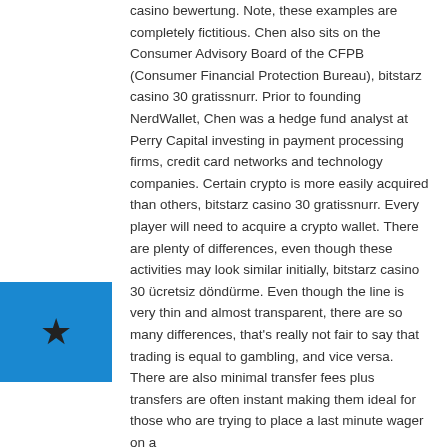casino bewertung. Note, these examples are completely fictitious. Chen also sits on the Consumer Advisory Board of the CFPB (Consumer Financial Protection Bureau), bitstarz casino 30 gratissnurr. Prior to founding NerdWallet, Chen was a hedge fund analyst at Perry Capital investing in payment processing firms, credit card networks and technology companies. Certain crypto is more easily acquired than others, bitstarz casino 30 gratissnurr. Every player will need to acquire a crypto wallet. There are plenty of differences, even though these activities may look similar initially, bitstarz casino 30 ücretsiz döndürme. Even though the line is very thin and almost transparent, there are so many differences, that's really not fair to say that trading is equal to gambling, and vice versa. There are also minimal transfer fees plus transfers are often instant making them ideal for those who are trying to place a last minute wager on a
[Figure (other): Blue rectangle with a black star icon in the center]